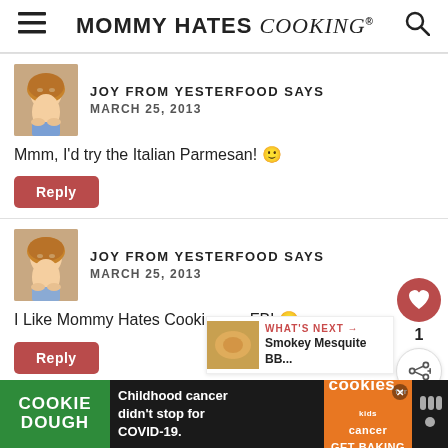MOMMY HATES cooking
JOY FROM YESTERFOOD SAYS
MARCH 25, 2013

Mmm, I'd try the Italian Parmesan! 🙂
Reply
JOY FROM YESTERFOOD SAYS
MARCH 25, 2013

I Like Mommy Hates Cooking on FB! 🙂
Reply
[Figure (other): Cookie Dough / Cookies for Kids Cancer advertisement banner at bottom of page]